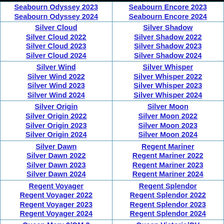| Seabourn Odyssey 2023
Seabourn Odyssey 2024 | Seabourn Encore 2023
Seabourn Encore 2024 |
| Silver Cloud
Silver Cloud 2022
Silver Cloud 2023
Silver Cloud 2024 | Silver Shadow
Silver Shadow 2022
Silver Shadow 2023
Silver Shadow 2024 |
| Silver Wind
Silver Wind 2022
Silver Wind 2023
Silver Wind 2024 | Silver Whisper
Silver Whisper 2022
Silver Whisper 2023
Silver Whisper 2024 |
| Silver Origin
Silver Origin 2022
Silver Origin 2023
Silver Origin 2024 | Silver Moon
Silver Moon 2022
Silver Moon 2023
Silver Moon 2024 |
| Silver Dawn
Silver Dawn 2022
Silver Dawn 2023
Silver Dawn 2024 | Regent Mariner
Regent Mariner 2022
Regent Mariner 2023
Regent Mariner 2024 |
| Regent Voyager
Regent Voyager 2022
Regent Voyager 2023
Regent Voyager 2024 | Regent Splendor
Regent Splendor 2022
Regent Splendor 2023
Regent Splendor 2024 |
| Queen Mary 2/QM 2
Queen Mary 2 2022 | Queen Victoria/QV
Queen Victoria 2022 |